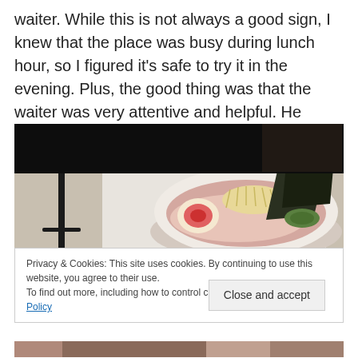waiter. While this is not always a good sign, I knew that the place was busy during lunch hour, so I figured it's safe to try it in the evening. Plus, the good thing was that the waiter was very attentive and helpful. He pointed out which menu items we should try!
[Figure (photo): A bowl of ramen with a soft-boiled egg, nori (seaweed), bean sprouts, and other toppings, shown in a restaurant setting.]
Privacy & Cookies: This site uses cookies. By continuing to use this website, you agree to their use.
To find out more, including how to control cookies, see here: Cookie Policy
[Figure (photo): Partial view of another food photo at the bottom of the page.]